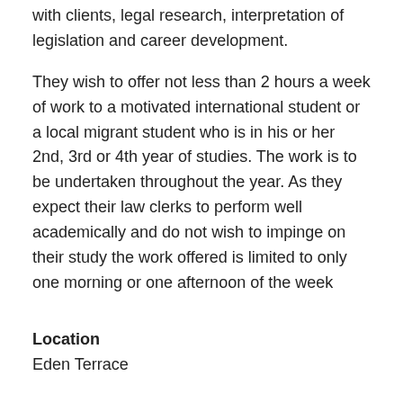with clients, legal research, interpretation of legislation and career development.
They wish to offer not less than 2 hours a week of work to a motivated international student or a local migrant student who is in his or her 2nd, 3rd or 4th year of studies. The work is to be undertaken throughout the year. As they expect their law clerks to perform well academically and do not wish to impinge on their study the work offered is limited to only one morning or one afternoon of the week
Location
Eden Terrace
To Apply